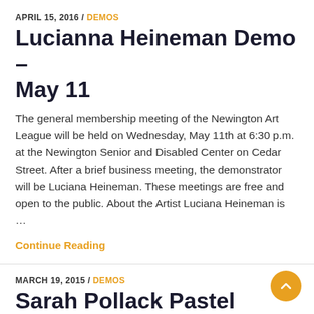APRIL 15, 2016 / DEMOS
Lucianna Heineman Demo – May 11
The general membership meeting of the Newington Art League will be held on Wednesday, May 11th at 6:30 p.m. at the Newington Senior and Disabled Center on Cedar Street. After a brief business meeting, the demonstrator will be Luciana Heineman. These meetings are free and open to the public. About the Artist Luciana Heineman is …
Continue Reading
MARCH 19, 2015 / DEMOS
Sarah Pollack Pastel